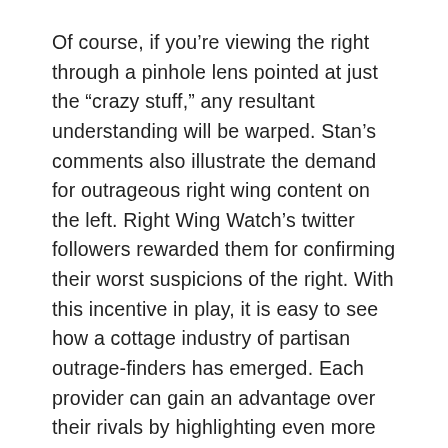Of course, if you're viewing the right through a pinhole lens pointed at just the “crazy stuff,” any resultant understanding will be warped. Stan’s comments also illustrate the demand for outrageous right wing content on the left. Right Wing Watch’s twitter followers rewarded them for confirming their worst suspicions of the right. With this incentive in play, it is easy to see how a cottage industry of partisan outrage-finders has emerged. Each provider can gain an advantage over their rivals by highlighting even more extreme outgroup speech, ensuring a race to the bottom.